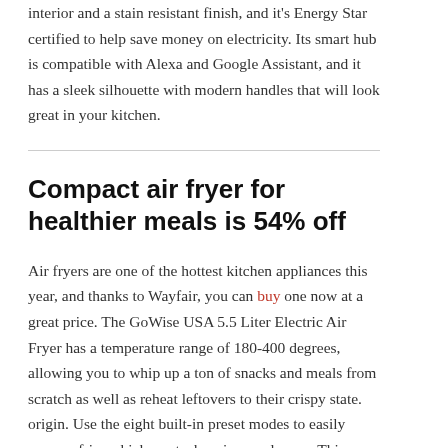interior and a stain resistant finish, and it's Energy Star certified to help save money on electricity. Its smart hub is compatible with Alexa and Google Assistant, and it has a sleek silhouette with modern handles that will look great in your kitchen.
Compact air fryer for healthier meals is 54% off
Air fryers are one of the hottest kitchen appliances this year, and thanks to Wayfair, you can buy one now at a great price. The GoWise USA 5.5 Liter Electric Air Fryer has a temperature range of 180-400 degrees, allowing you to whip up a ton of snacks and meals from scratch as well as reheat leftovers to their crispy state. origin. Use the eight built-in preset modes to easily prepare fries, chicken, steaks, pizza and more. This stylish model is even available in four colors that will look great on your countertop.